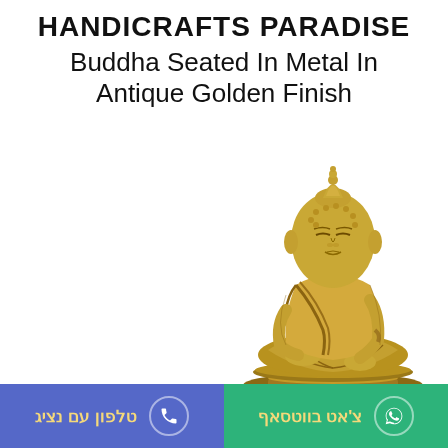HANDICRAFTS PARADISE
Buddha Seated In Metal In Antique Golden Finish
[Figure (photo): A golden brass seated Buddha statue in antique golden finish, photographed on a white background. The Buddha is in a meditation pose with crossed legs and hands resting in the lap.]
טלפון עם נציג | צ'אט בווטסאף